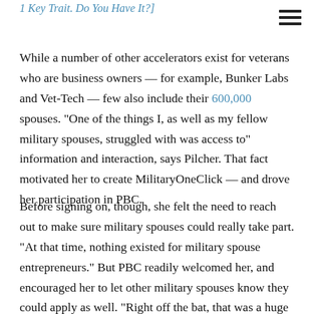1 Key Trait. Do You Have It?]
While a number of other accelerators exist for veterans who are business owners — for example, Bunker Labs and Vet-Tech — few also include their 600,000 spouses. “One of the things I, as well as my fellow military spouses, struggled with was access to” information and interaction, says Pilcher. That fact motivated her to create MilitaryOneClick — and drove her participation in PBC.
Before signing on, though, she felt the need to reach out to make sure military spouses could really take part. “At that time, nothing existed for military spouse entrepreneurs.” But PBC readily welcomed her, and encouraged her to let other military spouses know they could apply as well. “Right off the bat, that was a huge difference for me.”